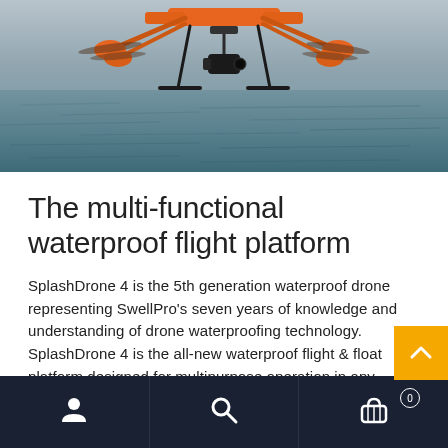[Figure (photo): Orange waterproof drone (SplashDrone 4) hovering low over choppy water surface, with camera gimbal mounted underneath. The drone has orange frame and black landing gear legs.]
The multi-functional waterproof flight platform
SplashDrone 4 is the 5th generation waterproof drone representing SwellPro's seven years of knowledge and understanding of drone waterproofing technology. SplashDrone 4 is the all-new waterproof flight & float platform designed for multipurpose operation in any
[Figure (other): Yellow/orange scroll-to-top button with a white upward-pointing chevron icon]
Bottom navigation bar with account icon, search icon, and cart icon with badge showing 0